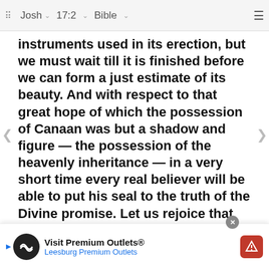Josh  17:2  Bible
instruments used in its erection, but we must wait till it is finished before we can form a just estimate of its beauty. And with respect to that great hope of which the possession of Canaan was but a shadow and figure — the possession of the heavenly inheritance — in a very short time every real believer will be able to put his seal to the truth of the Divine promise. Let us rejoice that we have a ovenant of God, and a covenant ordered in all things and sure, which is all our salvation and all our desire. And first, by way of improvement, let us observe the propriety of remembering the way in which the Lord God hath led us. If we consider the trials and sorrows of the present life as a part of that holy dispensation, in that proportion shall we be disp... nd of man in...
[Figure (infographic): Advertisement banner for Visit Premium Outlets® Leesburg Premium Outlets with logo, play button, navigation icon, and close button]